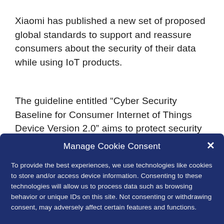Xiaomi has published a new set of proposed global standards to support and reassure consumers about the security of their data while using IoT products.
The guideline entitled “Cyber Security Baseline for Consumer Internet of Things Device Version 2.0” aims to protect security and user privacy with a comprehensive set of requirements covering guidelines from device hardware, device software to device communication. It also states the
Manage Cookie Consent
To provide the best experiences, we use technologies like cookies to store and/or access device information. Consenting to these technologies will allow us to process data such as browsing behavior or unique IDs on this site. Not consenting or withdrawing consent, may adversely affect certain features and functions.